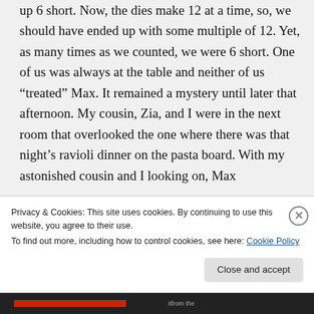up 6 short. Now, the dies make 12 at a time, so, we should have ended up with some multiple of 12. Yet, as many times as we counted, we were 6 short. One of us was always at the table and neither of us “treated” Max. It remained a mystery until later that afternoon. My cousin, Zia, and I were in the next room that overlooked the one where there was that night’s ravioli dinner on the pasta board. With my astonished cousin and I looking on, Max
Privacy & Cookies: This site uses cookies. By continuing to use this website, you agree to their use.
To find out more, including how to control cookies, see here: Cookie Policy
Close and accept